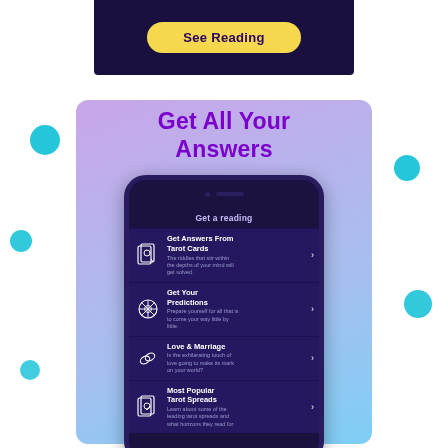[Figure (screenshot): Top portion of a phone screen showing a dark purple background with a yellow 'See Reading' button]
[Figure (screenshot): App store screenshot showing 'Get All Your Answers' heading on a purple/blue gradient background with a phone mockup displaying a tarot reading app menu with options: Get Answers From Tarot Cards, Get Your Predictions, Love & Marriage, Most Popular Tarot Spreads]